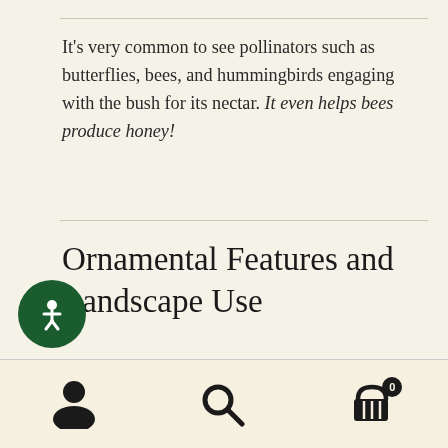It's very common to see pollinators such as butterflies, bees, and hummingbirds engaging with the bush for its nectar. It even helps bees produce honey!
Ornamental Features and Landscape Use
Because of their blooming flowers and fruit, the buttonbush is a popular choice for use in native plant gardens, shrub borders, and along with your ponds and shores. This shrub prefers
[Figure (other): Circular dark green accessibility icon button with a person/wheelchair icon in white]
Bottom navigation bar with user account icon, search icon, and shopping cart icon with badge showing 0